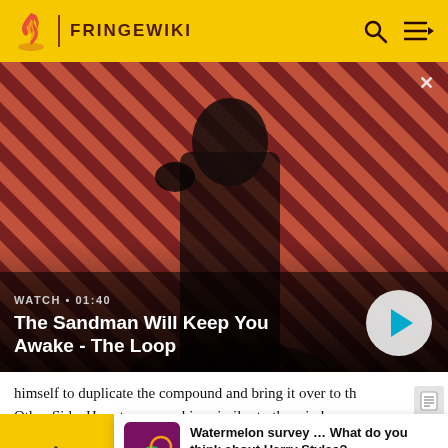FRINGEWIKI
[Figure (screenshot): Video thumbnail showing a dark figure (The Sandman) with a raven on shoulder against red-pink diagonal striped background, with video title overlay and play button]
WATCH • 01:40
The Sandman Will Keep You Awake - The Loop
himself to duplicate the compound and bring it over to the Other Side. He set up a machine similar to the window, yet ... ver. Doing ... r be unlea
[Figure (infographic): Notification banner: Watermelon survey icon with text 'Watermelon survey … What do you think about Harry Styles? TAKE THE SURVEY HERE']